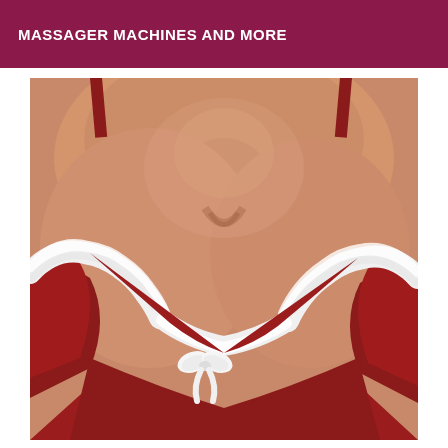MASSAGER MACHINES AND MORE
[Figure (photo): Close-up photo of a person wearing a red Christmas/Santa lingerie outfit with white fur trim along the neckline and a white satin bow at the center front.]